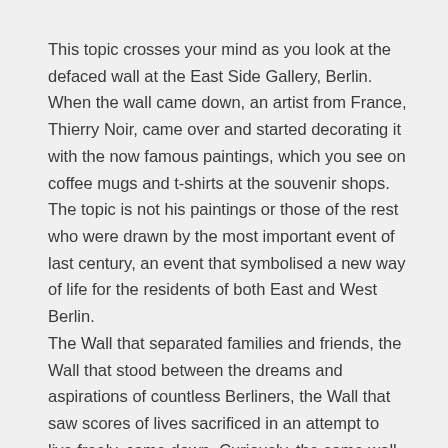This topic crosses your mind as you look at the defaced wall at the East Side Gallery, Berlin. When the wall came down, an artist from France, Thierry Noir, came over and started decorating it with the now famous paintings, which you see on coffee mugs and t-shirts at the souvenir shops.
The topic is not his paintings or those of the rest who were drawn by the most important event of last century, an event that symbolised a new way of life for the residents of both East and West Berlin.
The Wall that separated families and friends, the Wall that stood between the dreams and aspirations of countless Berliners, the Wall that saw scores of lives sacrificed in an attempt to live freely, came down. Curiously, the same wall that stood for oppression and dictatorship when it was standing, came to be known as a strong, if broken, symbol of freedom and enterprise; of hope and and dreams; of possibilities and a new life.
Now you would think these thoughts might cross the minds of millions of camera-toting tourists from around the world who are